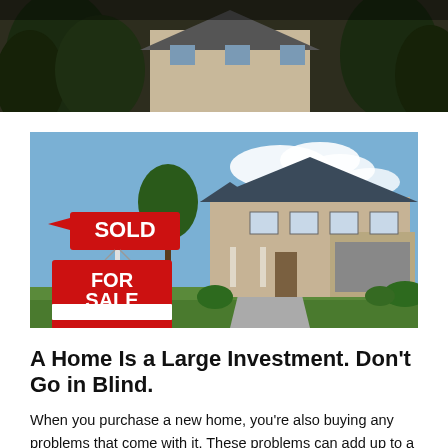[Figure (photo): Top portion of a house photograph showing roofline and trees, dark/shadowed]
[Figure (photo): A house with a red FOR SALE sign that also has a SOLD banner on top, large suburban home with brick exterior and gray roof, blue sky with clouds]
A Home Is a Large Investment. Don't Go in Blind.
When you purchase a new home, you're also buying any problems that come with it. These problems can add up to a large expense. You can think of a home inspection as a safety